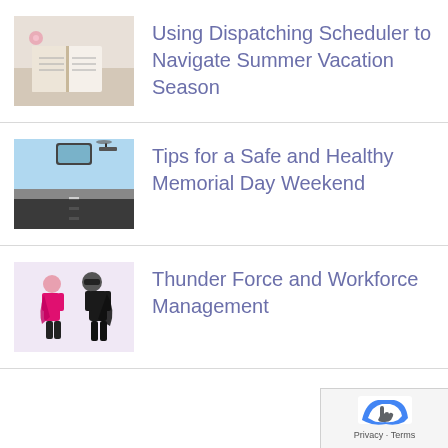Using Dispatching Scheduler to Navigate Summer Vacation Season
Tips for a Safe and Healthy Memorial Day Weekend
Thunder Force and Workforce Management
[Figure (screenshot): Google Maps / reCAPTCHA privacy footer icon with Privacy and Terms links]